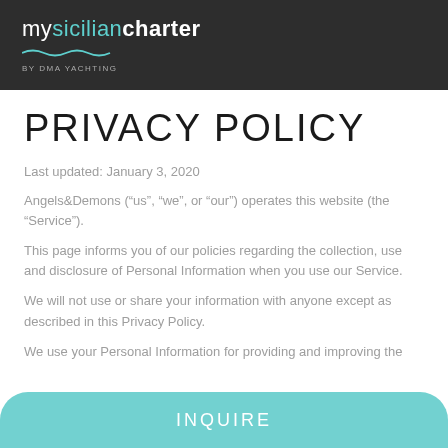mysiciliancharter by DMA YACHTING
PRIVACY POLICY
Last updated: January 3, 2020
Angels&Demons (“us”, “we”, or “our”) operates this website (the “Service”).
This page informs you of our policies regarding the collection, use and disclosure of Personal Information when you use our Service.
We will not use or share your information with anyone except as described in this Privacy Policy.
We use your Personal Information for providing and improving the
INQUIRE